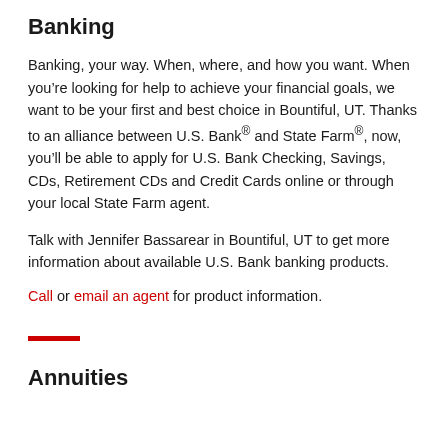Banking
Banking, your way. When, where, and how you want. When you’re looking for help to achieve your financial goals, we want to be your first and best choice in Bountiful, UT. Thanks to an alliance between U.S. Bank® and State Farm®, now, you’ll be able to apply for U.S. Bank Checking, Savings, CDs, Retirement CDs and Credit Cards online or through your local State Farm agent.
Talk with Jennifer Bassarear in Bountiful, UT to get more information about available U.S. Bank banking products.
Call or email an agent for product information.
Annuities